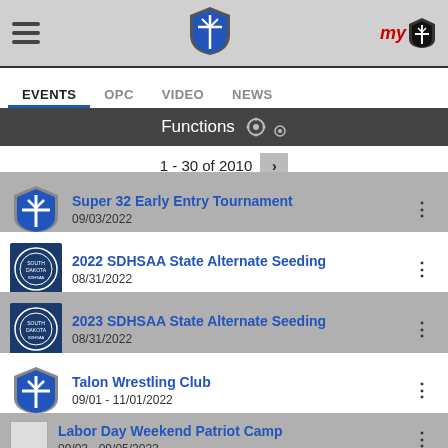EVENTS  OPC  VIDEO  NEWS
Functions
1 - 30 of 2010
Super 32 Early Entry Tournament
09/03/2022
2022 SDHSAA State Alternate Seeding
08/31/2022
2023 SDHSAA State Alternate Seeding
08/31/2022
Talon Wrestling Club
09/01 - 11/01/2022
Labor Day Weekend Patriot Camp
09/03 - 09/05/2022
2022 Cobra Pit Classic